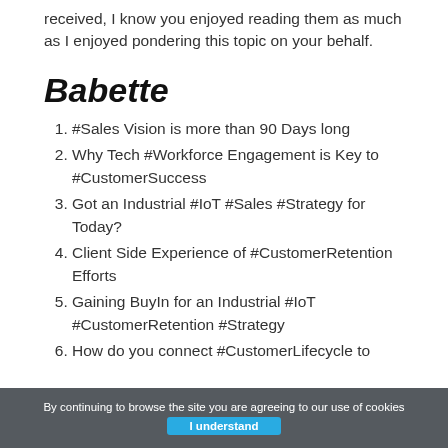received, I know you enjoyed reading them as much as I enjoyed pondering this topic on your behalf.
Babette
#Sales Vision is more than 90 Days long
Why Tech #Workforce Engagement is Key to #CustomerSuccess
Got an Industrial #IoT #Sales #Strategy for Today?
Client Side Experience of #CustomerRetention Efforts
Gaining BuyIn for an Industrial #IoT #CustomerRetention #Strategy
How do you connect #CustomerLifecycle to
By continuing to browse the site you are agreeing to our use of cookies  I understand